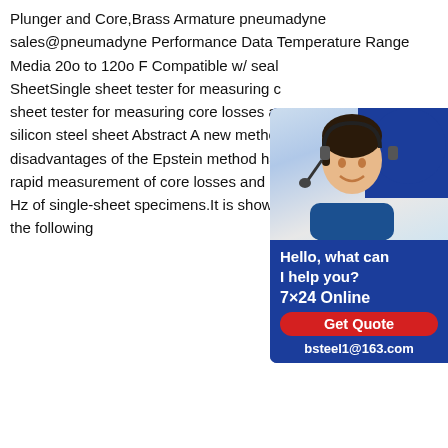Plunger and Core,Brass Armature pneumadyne sales@pneumadyne Performance Data Temperature Range Media 20o to 120o F Compatible w/ seals SheetSingle sheet tester for measuring c sheet tester for measuring core losses ar silicon steel sheet Abstract A new metho disadvantages of the Epstein method has rapid measurement of core losses and p Hz of single-sheet specimens.It is shown the following
[Figure (photo): Advertisement widget showing a woman with headset on blue background with text: Hello, what can I help you? 7x24 Online, Get Quote button, bsteel1@163.com]
Reviews 179Best Flux Co... Mild Steel And Banish Your
Mar 23,2020 steel sheet steel core#0183;Your 4 Best Flux Core Wires For Mild Steel No.1 and Winner.INE INETUB BA71TGS Mild Steel Flux Cored Wire .Best for Galvanized Steel .Blue Demon E71TGS Mild Steel Flux Cored Wire.Best for Sheet